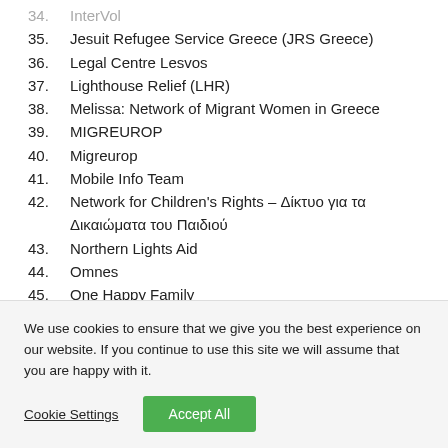35. Jesuit Refugee Service Greece (JRS Greece)
36. Legal Centre Lesvos
37. Lighthouse Relief (LHR)
38. Melissa: Network of Migrant Women in Greece
39. MIGREUROP
40. Migreurop
41. Mobile Info Team
42. Network for Children's Rights – Δίκτυο για τα Δικαιώματα του Παιδιού
43. Northern Lights Aid
44. Omnes
45. One Happy Family
We use cookies to ensure that we give you the best experience on our website. If you continue to use this site we will assume that you are happy with it.
Cookie Settings  Accept All